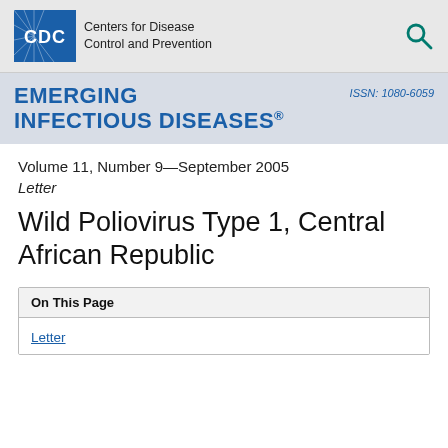[Figure (logo): CDC logo with blue emblem and text 'Centers for Disease Control and Prevention', plus a teal search icon on the right]
EMERGING INFECTIOUS DISEASES® ISSN: 1080-6059
Volume 11, Number 9—September 2005
Letter
Wild Poliovirus Type 1, Central African Republic
On This Page
Letter